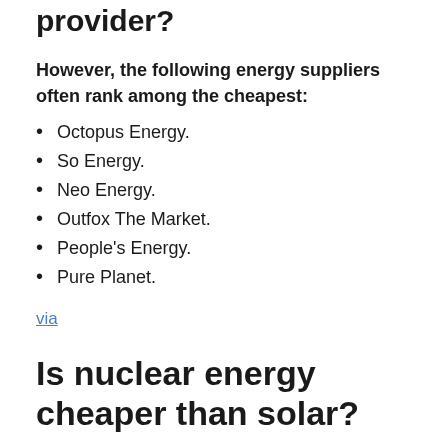provider?
However, the following energy suppliers often rank among the cheapest:
Octopus Energy.
So Energy.
Neo Energy.
Outfox The Market.
People's Energy.
Pure Planet.
via
Is nuclear energy cheaper than solar?